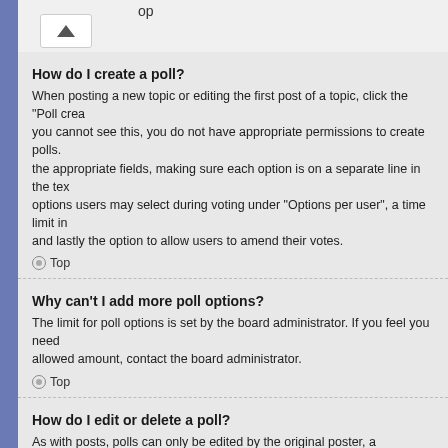op
How do I create a poll?
When posting a new topic or editing the first post of a topic, click the "Poll crea you cannot see this, you do not have appropriate permissions to create polls. the appropriate fields, making sure each option is on a separate line in the tex options users may select during voting under "Options per user", a time limit in and lastly the option to allow users to amend their votes.
Top
Why can't I add more poll options?
The limit for poll options is set by the board administrator. If you feel you need allowed amount, contact the board administrator.
Top
How do I edit or delete a poll?
As with posts, polls can only be edited by the original poster, a moderator or a edit the first post in the topic; this always has the poll associated with it. If no c poll or edit any poll option. However, if members have already placed votes, o or delete it. This prevents the poll's options from being changed mid-way throu
Top
Why can't I access a forum?
Some forums may be limited to certain users or groups. To view, read, post or